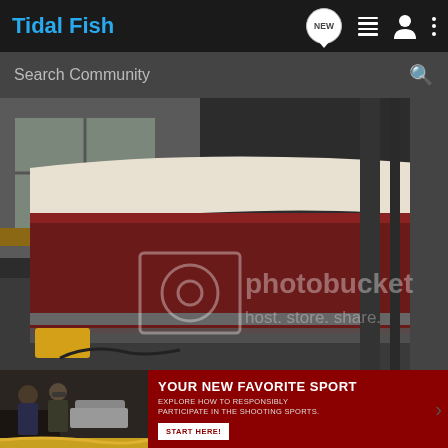Tidal Fish
Search Community
[Figure (photo): Indoor workshop scene showing the bottom of a boat hull with reddish-brown antifouling paint exposed, white gelcoat trim visible at top, stored in a garage-like space with windows and wall rails visible. A photobucket watermark is overlaid: 'photobucket host. store. share.']
[Figure (photo): Advertisement banner: left side shows people at a shooting range; right side is dark red with text 'YOUR NEW FAVORITE SPORT - EXPLORE HOW TO RESPONSIBLY PARTICIPATE IN THE SHOOTING SPORTS.' and a 'START HERE!' button]